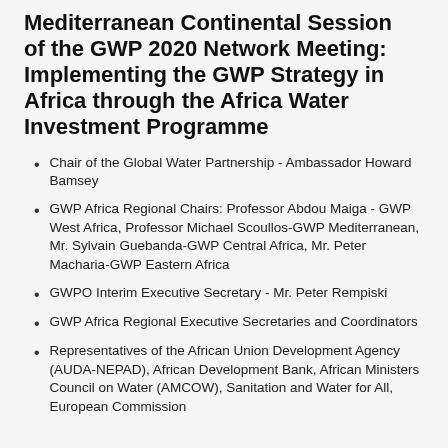Mediterranean Continental Session of the GWP 2020 Network Meeting: Implementing the GWP Strategy in Africa through the Africa Water Investment Programme
Chair of the Global Water Partnership - Ambassador Howard Bamsey
GWP Africa Regional Chairs: Professor Abdou Maiga - GWP West Africa, Professor Michael Scoullos-GWP Mediterranean, Mr. Sylvain Guebanda-GWP Central Africa, Mr. Peter Macharia-GWP Eastern Africa
GWPO Interim Executive Secretary - Mr. Peter Rempiski
GWP Africa Regional Executive Secretaries and Coordinators
Representatives of the African Union Development Agency (AUDA-NEPAD), African Development Bank, African Ministers Council on Water (AMCOW), Sanitation and Water for All, European Commission